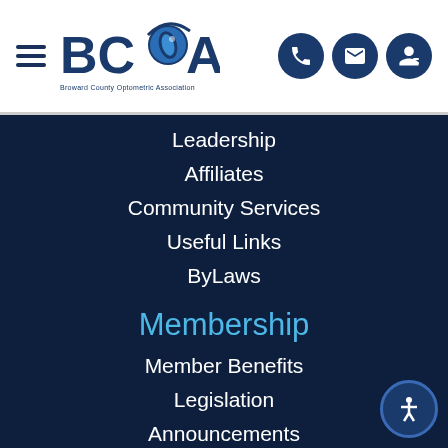[Figure (logo): BCOA - Broward County Optometric Association logo with hamburger menu and contact icons]
Leadership
Affiliates
Community Services
Useful Links
ByLaws
Membership
Member Benefits
Legislation
Announcements
Events